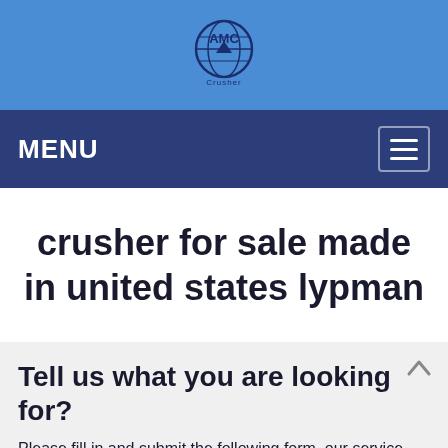[Figure (logo): AMC logo — globe icon with 'AMC' text and 'crusher' subtitle on a blue background header bar]
MENU
crusher for sale made in united states lypman
Tell us what you are looking for?
Please fill in and submit the following form, our service team will contact you as soon as possible and provide a complete solution.